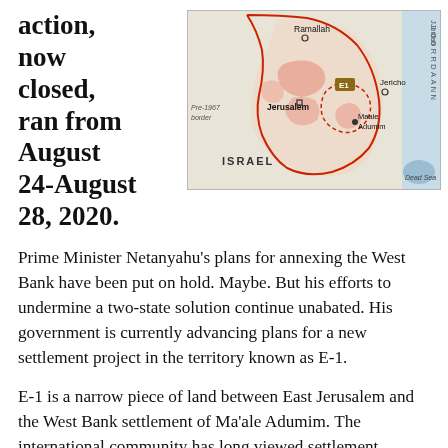action, now closed, ran from August 24-August 28, 2020.
[Figure (map): Map showing the West Bank region including Ramallah, Jerusalem, Jericho, Maale Adumim, the E1 territory (marked with a square label), the Pre-1967 border, the Jordan River border, Israel label, and the Dead Sea.]
Prime Minister Netanyahu's plans for annexing the West Bank have been put on hold. Maybe. But his efforts to undermine a two-state solution continue unabated. His government is currently advancing plans for a new settlement project in the territory known as E-1.
E-1 is a narrow piece of land between East Jerusalem and the West Bank settlement of Ma'ale Adumim. The international community has long viewed settlement construction in E-1 as a redline, as it would undercut the viability of a Palestinian state in East Jerusalem and...